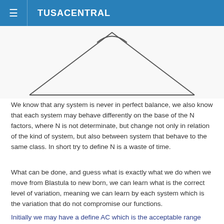≡  TUSACENTRAL
[Figure (illustration): A geometric diagram showing a large triangle with a smaller curved shape (arc/dome) centered at the top vertex, suggesting balance or symmetry concepts.]
We know that any system is never in perfect balance, we also know that each system may behave differently on the base of the N factors, where N is not determinate, but change not only in relation of the kind of system, but also between system that behave to the same class. In short try to define N is a waste of time.
What can be done, and guess what is exactly what we do when we move from Blastula to new born, we can learn what is the correct level of variation, meaning we can learn by each system which is the variation that do not compromise our functions.
Initially we may have a define AC which is the acceptable range...